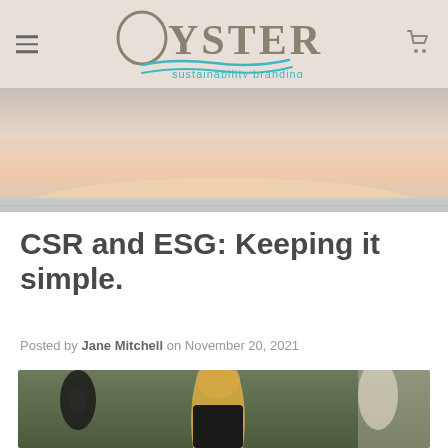OYSTER sustainability branding
[Figure (photo): Sunset / seascape hero banner image with pastel sky and water horizon]
CSR and ESG: Keeping it simple.
Posted by Jane Mitchell on November 20, 2021
[Figure (photo): Blonde woman in black jacket outdoors at a park event, crowd visible in background]